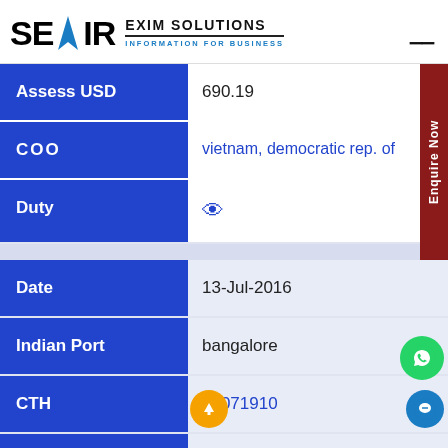SEAIR EXIM SOLUTIONS — INFORMATION FOR BUSINESS
| Field | Value |
| --- | --- |
| Assess USD | 690.19 |
| COO | vietnam, democratic rep. of |
| Duty |  |
| Date | 13-Jul-2016 |
| Indian Port | bangalore |
| CTH | 62071910 |
| Item Description | 51435502 lightweight singlet r ... st-puma black mens |